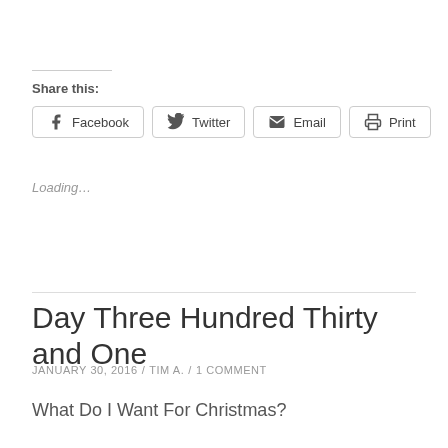Share this:
Facebook  Twitter  Email  Print
Loading...
Day Three Hundred Thirty and One
JANUARY 30, 2016 / TIM A. / 1 COMMENT
What Do I Want For Christmas?